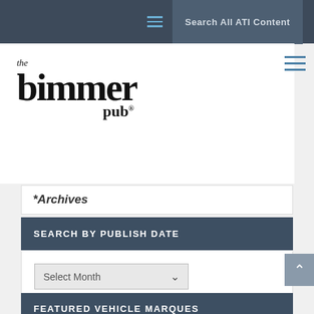Search All ATI Content
[Figure (logo): The Bimmer Pub logo with stylized gothic font]
Performance Technician*
Volkswagen Technician*
*Archives
SEARCH BY PUBLISH DATE
Select Month
FEATURED VEHICLE MARQUES